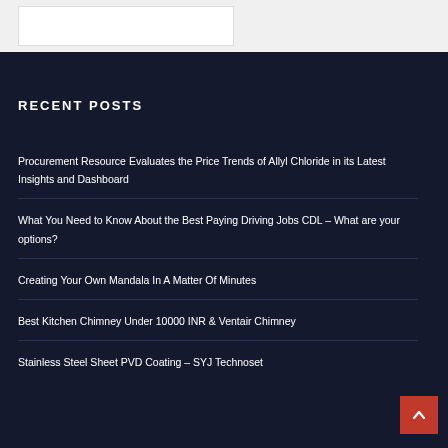RECENT POSTS
Procurement Resource Evaluates the Price Trends of Allyl Chloride in its Latest Insights and Dashboard
What You Need to Know About the Best Paying Driving Jobs CDL – What are your options?
Creating Your Own Mandala In A Matter Of Minutes
Best Kitchen Chimney Under 10000 INR & Ventair Chimney
Stainless Steel Sheet PVD Coating – SYJ Technoset